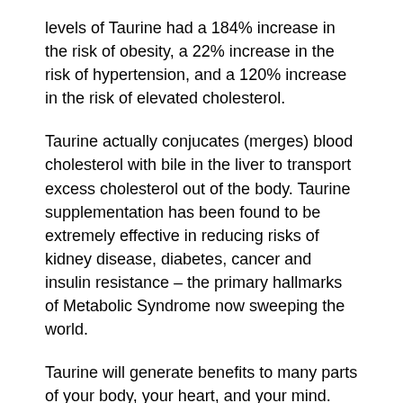levels of Taurine had a 184% increase in the risk of obesity, a 22% increase in the risk of hypertension, and a 120% increase in the risk of elevated cholesterol.
Taurine actually conjucates (merges) blood cholesterol with bile in the liver to transport excess cholesterol out of the body. Taurine supplementation has been found to be extremely effective in reducing risks of kidney disease, diabetes, cancer and insulin resistance – the primary hallmarks of Metabolic Syndrome now sweeping the world.
Taurine will generate benefits to many parts of your body, your heart, and your mind.
What Our Customers Say about MInd Power!
“Mind Power makes me “smart” and “witty”! I